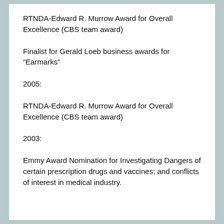RTNDA-Edward R. Murrow Award for Overall Excellence (CBS team award)
Finalist for Gerald Loeb business awards for “Earmarks”
2005:
RTNDA-Edward R. Murrow Award for Overall Excellence (CBS team award)
2003:
Emmy Award Nomination for Investigating Dangers of certain prescription drugs and vaccines; and conflicts of interest in medical industry.